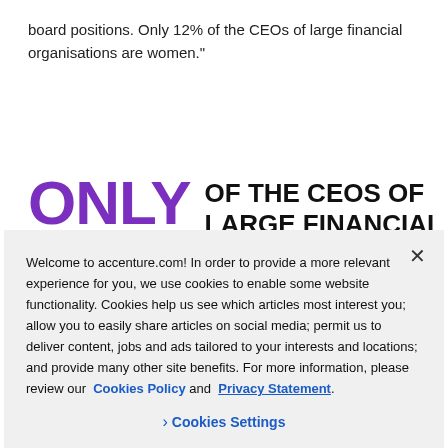board positions. Only 12% of the CEOs of large financial organisations are women."
[Figure (infographic): Large purple bold text reading 'ONLY' on the left, followed by large black bold text 'OF THE CEOs OF LARGE FINANCIAL ORGANISATIONS IN' on the right. A large purple '12%' is partially visible below 'ONLY'.]
Welcome to accenture.com! In order to provide a more relevant experience for you, we use cookies to enable some website functionality. Cookies help us see which articles most interest you; allow you to easily share articles on social media; permit us to deliver content, jobs and ads tailored to your interests and locations; and provide many other site benefits. For more information, please review our Cookies Policy and Privacy Statement.
› Cookies Settings